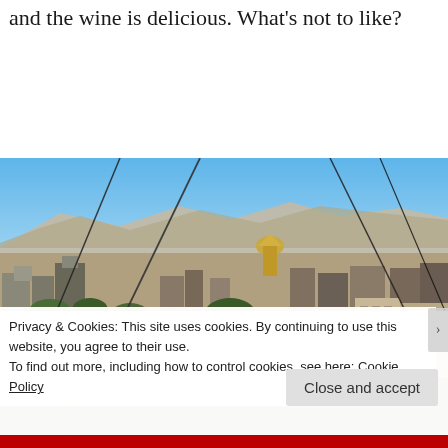and the wine is delicious. What's not to like?
[Figure (photo): Aerial cityscape photo of Tbilisi, Georgia taken from a cable car, showing the city's old town with a cathedral dome visible among buildings and hills in the background, with cable car wires visible crossing the image diagonally.]
Privacy & Cookies: This site uses cookies. By continuing to use this website, you agree to their use.
To find out more, including how to control cookies, see here: Cookie Policy
Close and accept